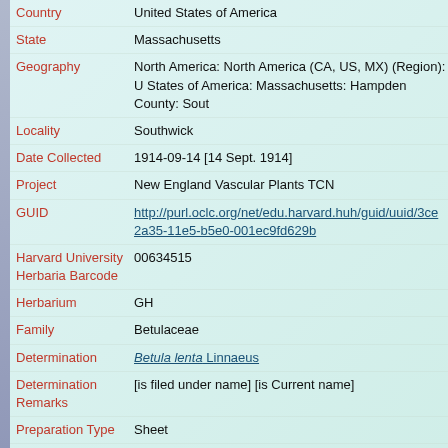| Field | Value |
| --- | --- |
| Country | United States of America |
| State | Massachusetts |
| Geography | North America: North America (CA, US, MX) (Region): United States of America: Massachusetts: Hampden County: Sout… |
| Locality | Southwick |
| Date Collected | 1914-09-14 [14 Sept. 1914] |
| Project | New England Vascular Plants TCN |
| GUID | http://purl.oclc.org/net/edu.harvard.huh/guid/uuid/3ce…2a35-11e5-b5e0-001ec9fd629b |
| Harvard University Herbaria Barcode | 00634515 |
| Herbarium | GH |
| Family | Betulaceae |
| Determination | Betula lenta Linnaeus |
| Determination Remarks | [is filed under name] [is Current name] |
| Preparation Type | Sheet |
| Preparation | Pressed |